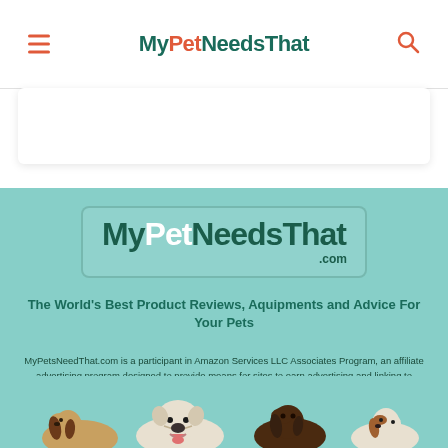MyPetNeedsThat
[Figure (logo): MyPetNeedsThat.com logo on teal background]
The World's Best Product Reviews, Aquipments and Advice For Your Pets
MyPetsNeedThat.com is a participant in Amazon Services LLC Associates Program, an affiliate advertising program designed to provide means for sites to earn advertising and linking to amazon.com
[Figure (photo): Several dogs of different breeds lined up at the bottom of the page]